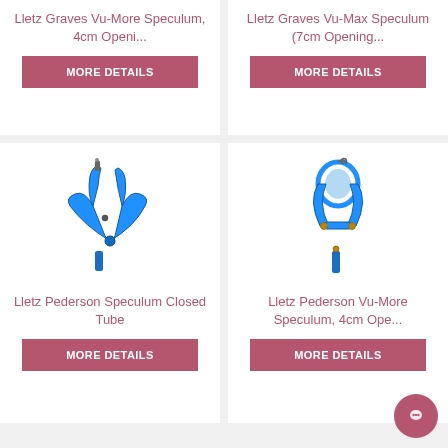Lletz Graves Vu-More Speculum, 4cm Openi...
MORE DETAILS
Lletz Graves Vu-Max Speculum (7cm Opening...
MORE DETAILS
[Figure (photo): Blue Lletz Pederson Speculum Closed Tube medical instrument]
Lletz Pederson Speculum Closed Tube
MORE DETAILS
[Figure (photo): Blue Lletz Pederson Vu-More Speculum 4cm medical instrument]
Lletz Pederson Vu-More Speculum, 4cm Ope...
MORE DETAILS